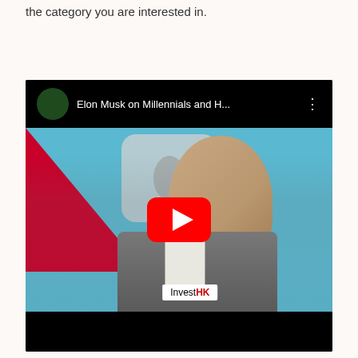the category you are interested in.
[Figure (screenshot): YouTube video thumbnail showing Elon Musk speaking at an InvestHK event, holding a microphone branded 'InvestHK'. The video title reads 'Elon Musk on Millennials and H...' with a YouTube play button overlay. The background shows a light blue stage backdrop with a red triangular logo element and a gray circle logo element.]